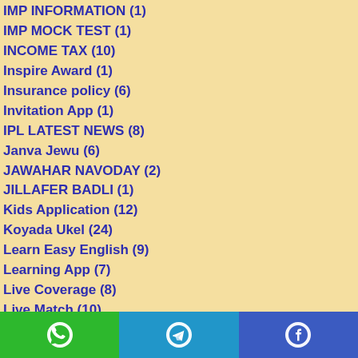IMP INFORMATION (1)
IMP MOCK TEST (1)
INCOME TAX (10)
Inspire Award (1)
Insurance policy (6)
Invitation App (1)
IPL LATEST NEWS (8)
Janva Jewu (6)
JAWAHAR NAVODAY (2)
JILLAFER BADLI (1)
Kids Application (12)
Koyada Ukel (24)
Learn Easy English (9)
Learning App (7)
Live Coverage (8)
Live Match (10)
LIVE TV (8)
[Figure (infographic): Social media sharing footer bar with WhatsApp (green), Telegram (blue), and Facebook (dark blue) icons]